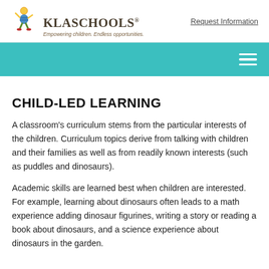KLA Schools — Empowering children. Endless opportunities. | Request Information
CHILD-LED LEARNING
A classroom's curriculum stems from the particular interests of the children. Curriculum topics derive from talking with children and their families as well as from readily known interests (such as puddles and dinosaurs).
Academic skills are learned best when children are interested. For example, learning about dinosaurs often leads to a math experience adding dinosaur figurines, writing a story or reading a book about dinosaurs, and a science experience about dinosaurs in the garden.